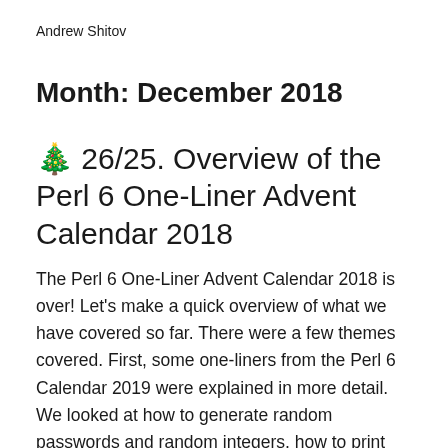Andrew Shitov
Month: December 2018
🎄 26/25. Overview of the Perl 6 One-Liner Advent Calendar 2018
The Perl 6 One-Liner Advent Calendar 2018 is over! Let's make a quick overview of what we have covered so far. There were a few themes covered. First, some one-liners from the Perl 6 Calendar 2019 were explained in more detail. We looked at how to generate random passwords and random integers, how to print
Continue reading